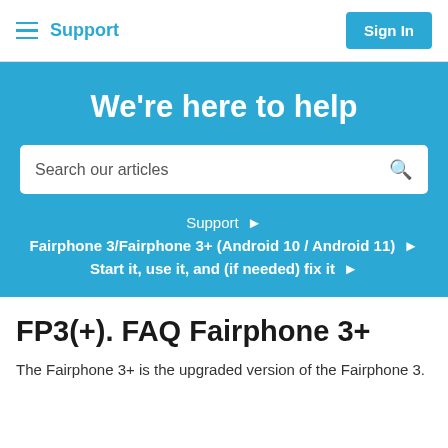Support  Sign In
We're here to help
Search our articles
Support ▶
Fairphone 3/Fairphone 3+ (Android 10 / Android 11) ▶
Start it, use it, and (if needed) fix it ▶
FP3(+). FAQ Fairphone 3+
The Fairphone 3+ is the upgraded version of the Fairphone 3.